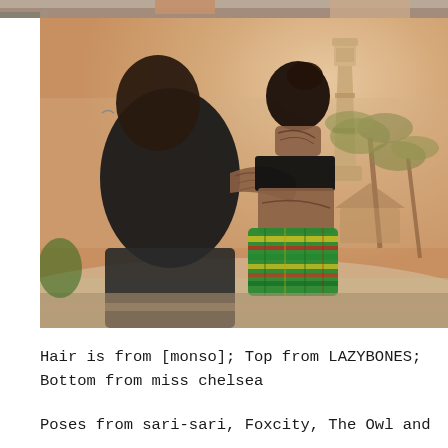[Figure (photo): Top strip of a previous image showing warm sandy beach tones]
[Figure (photo): Two people with tattoos viewed from behind, embracing, sitting and looking toward a lighthouse, palm trees, and a warm sunset beach scene. The woman wears a black crop top and colorful green patterned bikini bottoms; the man wears a black shirt. Both have tattoos. A signature watermark is visible in the bottom right.]
Hair is from [monso]; Top from LAZYBONES; Bottom from miss chelsea
Poses from sari-sari, Foxcity, The Owl and